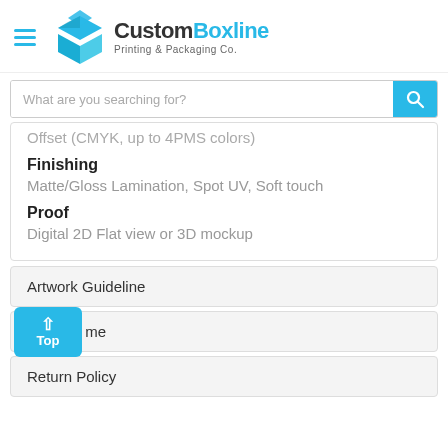CustomBoxline Printing & Packaging Co.
What are you searching for?
Offset (CMYK, up to 4PMS colors)
Finishing
Matte/Gloss Lamination, Spot UV, Soft touch
Proof
Digital 2D Flat view or 3D mockup
Artwork Guideline
Lead Time
Return Policy